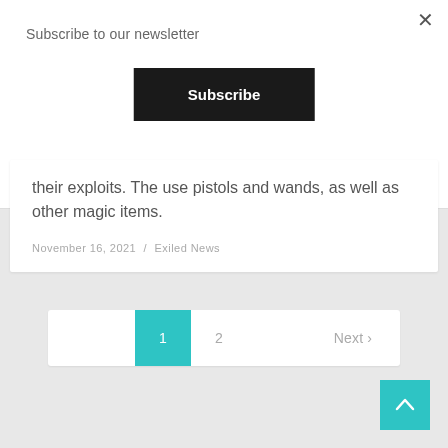Subscribe to our newsletter
Subscribe
their exploits. The use pistols and wands, as well as other magic items.
November 16, 2021 / Exiled News
1  2  Next >
[Figure (other): Back to top arrow button (teal/cyan square with upward chevron)]